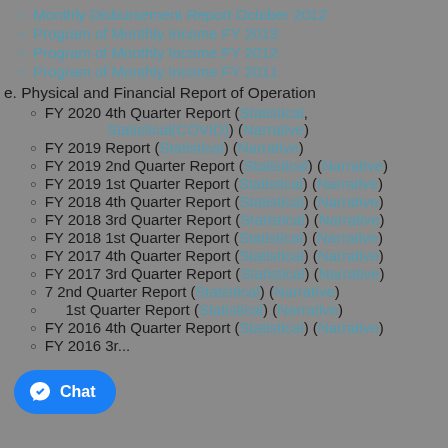Monthly Disbursement Report October 2012
Program of Monthly Income FY 2013
Program of Monthly Income FY 2012
Program of Monthly Income FY 2011
e. Physical and Financial Report of Operation
FY 2020 4th Quarter Report (Statistical, Statistical(COVID)) (Narrative)
FY 2019 Report (Statistical) (Narrative)
FY 2019 2nd Quarter Report (Statistical) (Narrative)
FY 2019 1st Quarter Report (Statistical) (Narrative)
FY 2018 4th Quarter Report (Statistical) (Narrative)
FY 2018 3rd Quarter Report (Statistical) (Narrative)
FY 2018 1st Quarter Report (Statistical) (Narrative)
FY 2017 4th Quarter Report (Statistical) (Narrative)
FY 2017 3rd Quarter Report (Statistical) (Narrative)
FY 2017 2nd Quarter Report (Statistical) (Narrative)
FY 2017 1st Quarter Report (Statistical) (Narrative)
FY 2016 4th Quarter Report (Statistical) (Narrative)
FY 2016 3rd Quarter Report (Statistical) (Narrative)